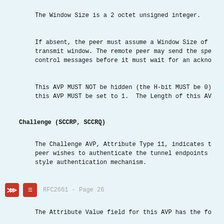The Window Size is a 2 octet unsigned integer.
If absent, the peer must assume a Window Size of transmit window. The remote peer may send the spe control messages before it must wait for an ackno
This AVP MUST NOT be hidden (the H-bit MUST be 0) this AVP MUST be set to 1.  The Length of this AV
Challenge (SCCRP, SCCRQ)
The Challenge AVP, Attribute Type 11, indicates t peer wishes to authenticate the tunnel endpoints style authentication mechanism.
RFC2661 - Page 26
The Attribute Value field for this AVP has the fo